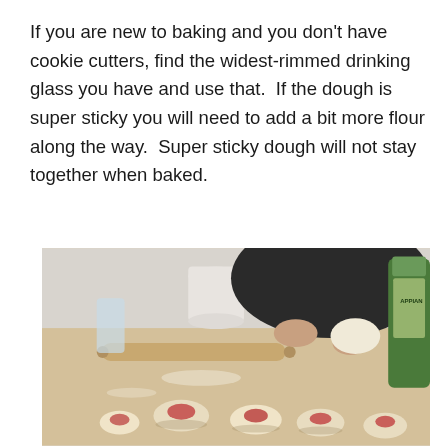If you are new to baking and you don't have cookie cutters, find the widest-rimmed drinking glass you have and use that.  If the dough is super sticky you will need to add a bit more flour along the way.  Super sticky dough will not stay together when baked.
[Figure (photo): A person working with dough at a kitchen table, rolling pin visible, small shaped pastries/cookies with jam filling in the foreground, a white pitcher and olive oil bottle in the background.]